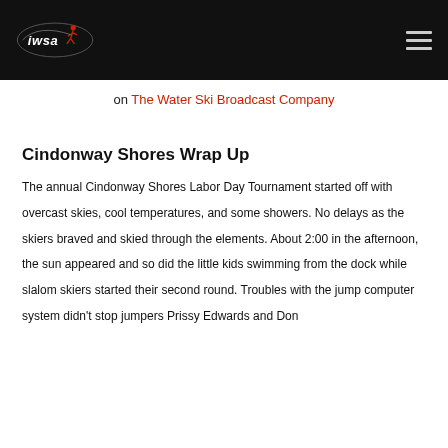IWSA logo and navigation menu
on The Water Ski Broadcast Company
Cindonway Shores Wrap Up
The annual Cindonway Shores Labor Day Tournament started off with overcast skies, cool temperatures, and some showers. No delays as the skiers braved and skied through the elements. About 2:00 in the afternoon, the sun appeared and so did the little kids swimming from the dock while slalom skiers started their second round. Troubles with the jump computer system didn't stop jumpers Prissy Edwards and Don